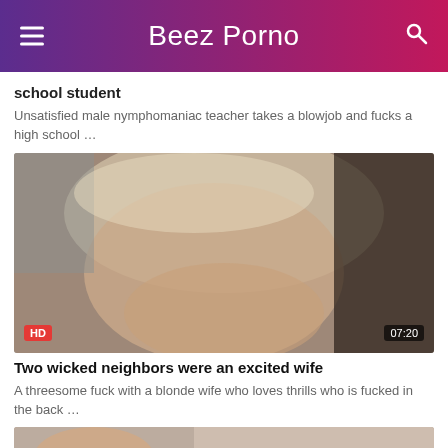Beez Porno
school student
Unsatisfied male nymphomaniac teacher takes a blowjob and fucks a high school …
[Figure (photo): Video thumbnail showing a blonde woman, HD badge bottom-left, duration 07:20 bottom-right]
Two wicked neighbors were an excited wife
A threesome fuck with a blonde wife who loves thrills who is fucked in the back …
[Figure (photo): Partial video thumbnail at bottom of page]